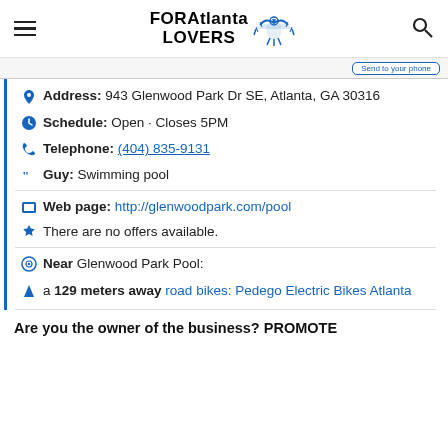FOR Atlanta LOVERS
Address: 943 Glenwood Park Dr SE, Atlanta, GA 30316
Schedule: Open · Closes 5PM
Telephone: (404) 835-9131
Guy: Swimming pool
Web page: http://glenwoodpark.com/pool
There are no offers available.
Near Glenwood Park Pool:
a 129 meters away road bikes: Pedego Electric Bikes Atlanta
Are you the owner of the business? PROMOTE